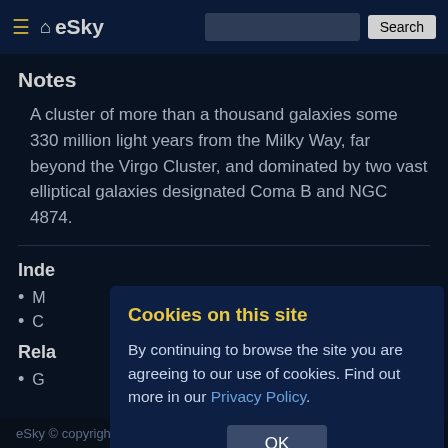[Figure (screenshot): eSky website navigation bar with hamburger menu, eSky logo with house icon, search input field, and Search button]
Notes
A cluster of more than a thousand galaxies some 330 million light years from the Milky Way, far beyond the Virgo Cluster, and dominated by two vast elliptical galaxies designated Coma B and NGC 4874.
Inde
M
C
Rela
G
Cookies on this site
By continuing to browse the site you are agreeing to our use of cookies. Find out more in our Privacy Policy.
eSky © copyright Mark Fisher 1999-2022   v2.1g